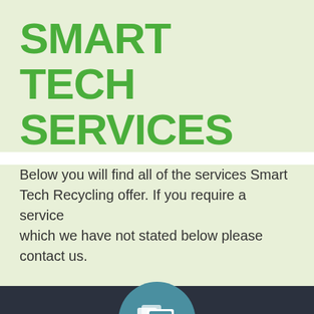SMART TECH SERVICES
Below you will find all of the services Smart Tech Recycling offer. If you require a service which we have not stated below please contact us.
[Figure (illustration): A teal circular icon containing a white computer monitor with a book or papers icon, centered on a dark background]
Computer Recycling Manchester